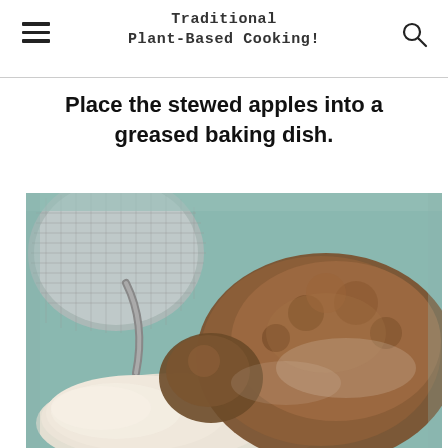Traditional Plant-Based Cooking!
Place the stewed apples into a greased baking dish.
[Figure (photo): Overhead view of a mint-green baking dish containing a metal sieve/strainer, piles of brown sugar and white flour, ingredients for a crumble topping.]